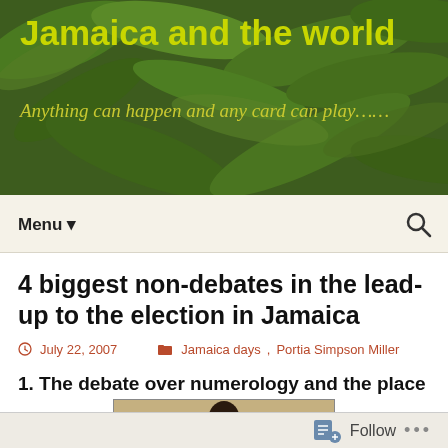Jamaica and the world
Anything can happen and any card can play……
Menu ▼
4 biggest non-debates in the lead-up to the election in Jamaica
July 22, 2007   Jamaica days, Portia Simpson Miller
1. The debate over numerology and the place of religion in politics
[Figure (photo): Partial portrait photo at bottom of page, cropped]
Follow ...